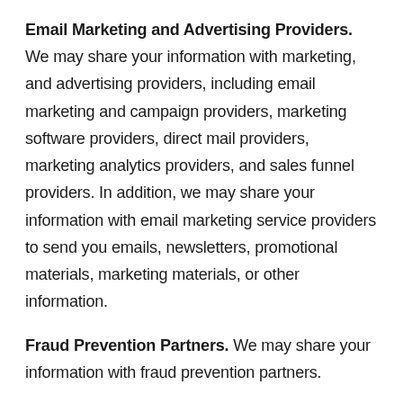Email Marketing and Advertising Providers. We may share your information with marketing, and advertising providers, including email marketing and campaign providers, marketing software providers, direct mail providers, marketing analytics providers, and sales funnel providers. In addition, we may share your information with email marketing service providers to send you emails, newsletters, promotional materials, marketing materials, or other information.
Fraud Prevention Partners. We may share your information with fraud prevention partners.
Fulfillment Partners. We may share your